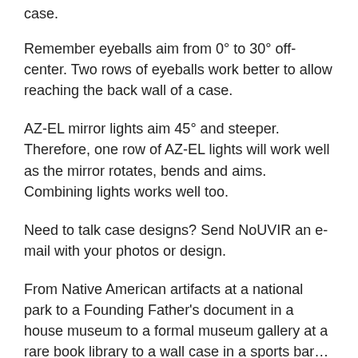case.
Remember eyeballs aim from 0° to 30° off-center. Two rows of eyeballs work better to allow reaching the back wall of a case.
AZ-EL mirror lights aim 45° and steeper. Therefore, one row of AZ-EL lights will work well as the mirror rotates, bends and aims. Combining lights works well too.
Need to talk case designs? Send NoUVIR an e-mail with your photos or design.
From Native American artifacts at a national park to a Founding Father's document in a house museum to a formal museum gallery at a rare book library to a wall case in a sports bar…diadem cases work much better with NoUVIR.